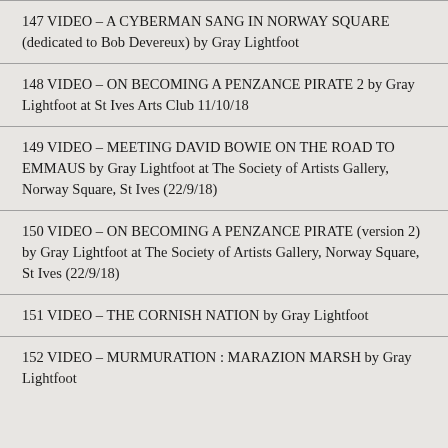147 VIDEO – A CYBERMAN SANG IN NORWAY SQUARE (dedicated to Bob Devereux) by Gray Lightfoot
148 VIDEO – ON BECOMING A PENZANCE PIRATE 2 by Gray Lightfoot at St Ives Arts Club 11/10/18
149 VIDEO – MEETING DAVID BOWIE ON THE ROAD TO EMMAUS by Gray Lightfoot at The Society of Artists Gallery, Norway Square, St Ives (22/9/18)
150 VIDEO – ON BECOMING A PENZANCE PIRATE (version 2) by Gray Lightfoot at The Society of Artists Gallery, Norway Square, St Ives (22/9/18)
151 VIDEO – THE CORNISH NATION by Gray Lightfoot
152 VIDEO – MURMURATION : MARAZION MARSH by Gray Lightfoot